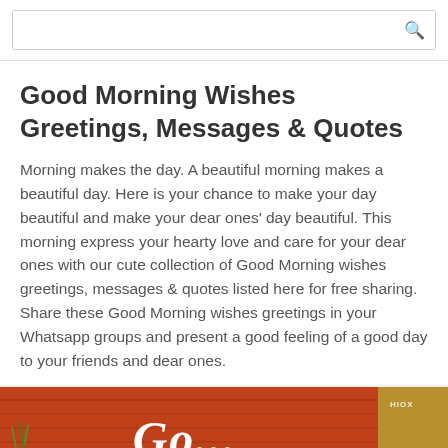Good Morning Wishes Greetings, Messages & Quotes
Morning makes the day. A beautiful morning makes a beautiful day. Here is your chance to make your day beautiful and make your dear ones' day beautiful. This morning express your hearty love and care for your dear ones with our cute collection of Good Morning wishes greetings, messages & quotes listed here for free sharing. Share these Good Morning wishes greetings in your Whatsapp groups and present a good feeling of a good day to your friends and dear ones.
[Figure (photo): Good morning greeting card image with orange/red wooden plank background and white cursive text, with HIOX watermark in top right corner]